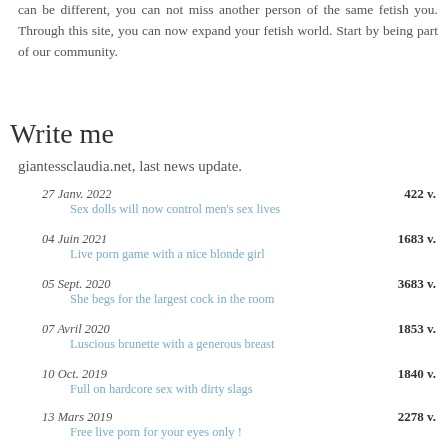can be different, you can not miss another person of the same fetish you. Through this site, you can now expand your fetish world. Start by being part of our community.
Write me
giantessclaudia.net, last news update.
27 Janv. 2022  422 v.
Sex dolls will now control men's sex lives
04 Juin 2021  1683 v.
Live porn game with a nice blonde girl
05 Sept. 2020  3683 v.
She begs for the largest cock in the room
07 Avril 2020  1853 v.
Luscious brunette with a generous breast
10 Oct. 2019  1840 v.
Full on hardcore sex with dirty slags
13 Mars 2019  2278 v.
Free live porn for your eyes only !